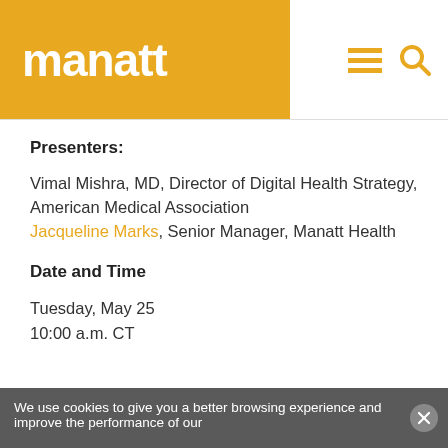manatt
Presenters:
Vimal Mishra, MD, Director of Digital Health Strategy, American Medical Association
Jacqueline Marks, Senior Manager, Manatt Health
Date and Time
Tuesday, May 25
10:00 a.m. CT
We use cookies to give you a better browsing experience and improve the performance of our